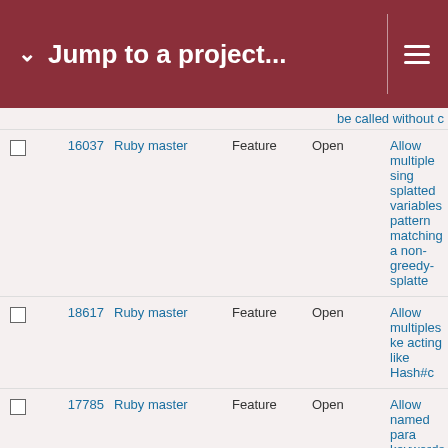Jump to a project...
be called without c
|  | ID | Project | Type | Status | Description |
| --- | --- | --- | --- | --- | --- |
|  | 16037 | Ruby master | Feature | Open | Allow multiple single splatted variables pattern matching and non-greedy-splatte |
|  | 18617 | Ruby master | Feature | Open | Allow multiples ke acting like Hash#c |
|  | 17785 | Ruby master | Feature | Open | Allow named para keywords |
|  | 8046 | Ruby master | Feature | Open | allow Object#exte block |
|  | 12969 | Ruby master | Feature | Open | Allow optional par String#strip and re |
|  | 16667 | Ruby master | Feature | Open | Allow parameters Symbol#to_proc a Method#to_proc |
|  | 5434 | Ruby master | Feature | Assigned | Allow per-class wh methods safe to e through DRb |
|  | 16336 | Ruby master | Feature | Open | Allow private cons accessed with abs references |